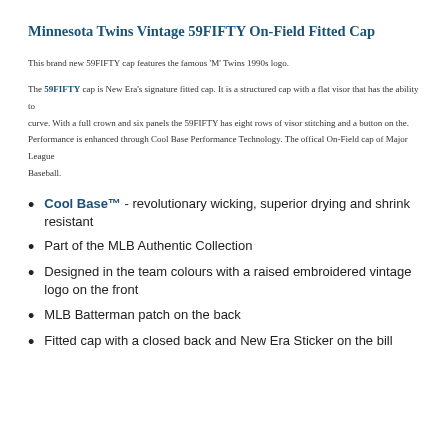Minnesota Twins Vintage 59FIFTY On-Field Fitted Cap
This brand new 59FIFTY cap features the famous 'M' Twins 1990s logo.
The 59FIFTY cap is New Era's signature fitted cap. It is a structured cap with a flat visor that has the ability to curve. With a full crown and six panels the 59FIFTY has eight rows of visor stitching and a button on the. Performance is enhanced through Cool Base Performance Technology. The offical On-Field cap of Major League Baseball.
Cool Base™ - revolutionary wicking, superior drying and shrink resistant
Part of the MLB Authentic Collection
Designed in the team colours with a raised embroidered vintage logo on the front
MLB Batterman patch on the back
Fitted cap with a closed back and New Era Sticker on the bill